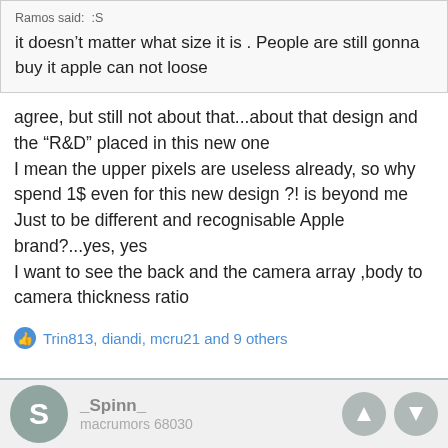Ramos said: :S
it doesn't matter what size it is . People are still gonna buy it apple can not loose
agree, but still not about that...about that design and the "R&D" placed in this new one
I mean the upper pixels are useless already, so why spend 1$ even for this new design ?! is beyond me
Just to be different and recognisable Apple brand?...yes, yes
I want to see the back and the camera array ,body to camera thickness ratio
Trin813, diandi, mcru21 and 9 others
_Spinn_
macrumors 68030